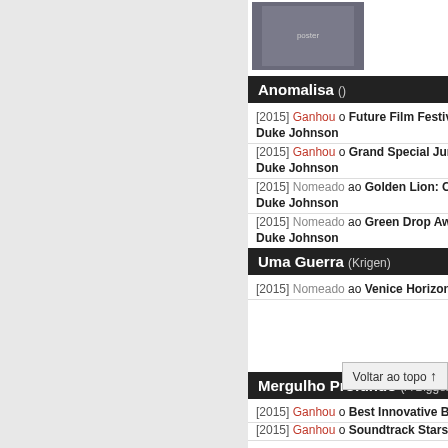[Figure (photo): Movie poster thumbnail for A Baronesa Dinamarquesa]
Anomalisa ()
[2015] Ganhou o Future Film Festival Digital Award: Charlie Kaufman Duke Johnson
[2015] Ganhou o Grand Special Jury Prize: Charlie Ka... Duke Johnson
[2015] Nomeado ao Golden Lion: Charlie Kaufman Duke Johnson
[2015] Nomeado ao Green Drop Award: Charlie Kaufm... Duke Johnson
Uma Guerra (Krigen)
[2015] Nomeado ao Venice Horizons Award: Best Film...
Mergulho Profundo (A Bigger Splash)
[2015] Ganhou o Best Innovative Budget Award: Luca...
[2015] Ganhou o Soundtrack Stars Award: Luca Guad...
[2015] Nomeado ao Golden Lion: Luca Guadagnino
[2015] Nomeado ao Green Drop Award: Luca Guadag...
A Infância de Um Líder (The Childhood of a Leader)
[2015] Ganhou o Luigi De Laurentiis...
Voltar ao topo ↑